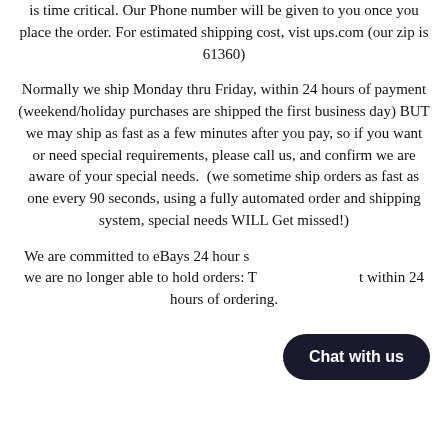is time critical. Our Phone number will be given to you once you place the order. For estimated shipping cost, vist ups.com (our zip is 61360)
Normally we ship Monday thru Friday, within 24 hours of payment (weekend/holiday purchases are shipped the first business day) BUT we may ship as fast as a few minutes after you pay, so if you want or need special requirements, please call us, and confirm we are aware of your special needs.  (we sometime ship orders as fast as one every 90 seconds, using a fully automated order and shipping system, special needs WILL Get missed!)
We are committed to eBays 24 hour s[hipping policy, so] we are no longer able to hold orders: T[hey must ship ou]t within 24 hours of ordering.